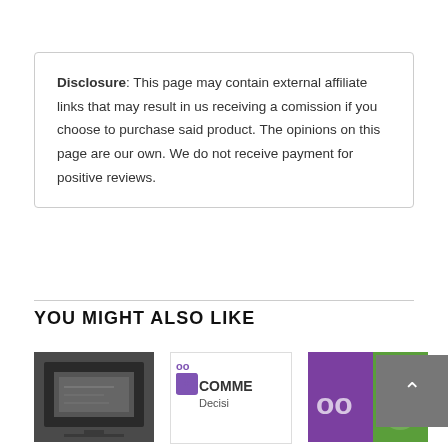Disclosure: This page may contain external affiliate links that may result in us receiving a comission if you choose to purchase said product. The opinions on this page are our own. We do not receive payment for positive reviews.
YOU MIGHT ALSO LIKE
[Figure (photo): Three thumbnail images: a dark monitor/screen image, a WooCommerce logo with text 'Decision', and a purple/green colored card graphic]